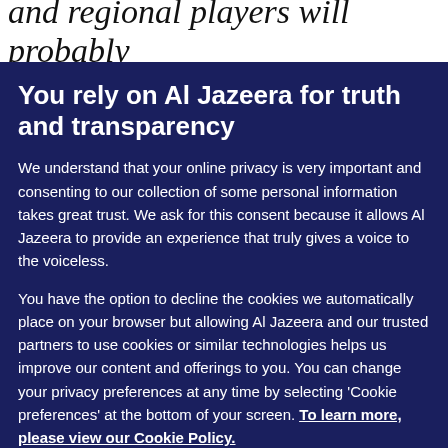and regional players will probably
You rely on Al Jazeera for truth and transparency
We understand that your online privacy is very important and consenting to our collection of some personal information takes great trust. We ask for this consent because it allows Al Jazeera to provide an experience that truly gives a voice to the voiceless.
You have the option to decline the cookies we automatically place on your browser but allowing Al Jazeera and our trusted partners to use cookies or similar technologies helps us improve our content and offerings to you. You can change your privacy preferences at any time by selecting ‘Cookie preferences’ at the bottom of your screen. To learn more, please view our Cookie Policy.